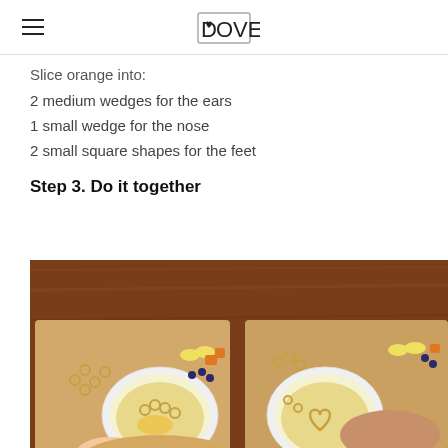DOVE
Slice orange into:
2 medium wedges for the ears
1 small wedge for the nose
2 small square shapes for the feet
Step 3. Do it together
[Figure (photo): Overhead view of two children and an adult at a wooden table, each with a cutting board and plate, arranging cereal rings and fruit pieces into decorative patterns on pancakes.]